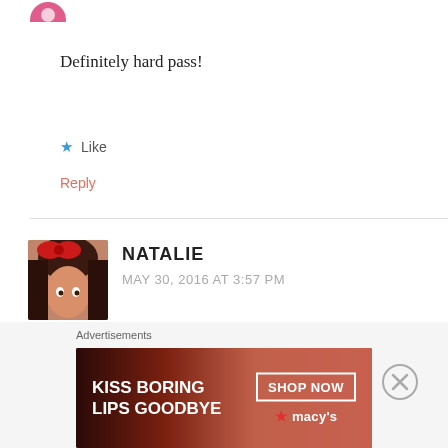[Figure (illustration): Pink avatar icon partially visible at top]
Definitely hard pass!
★ Like
Reply
NATALIE
MAY 30, 2016 AT 3:57 PM
[Figure (photo): Photo of a young woman with a red bow in her hair]
I did not watch the first, and am definitely not wanting to see this! I like the animated version in some ways, but the live action looks insane!
Advertisements
[Figure (illustration): Macy's advertisement banner: KISS BORING LIPS GOODBYE with SHOP NOW button and Macy's star logo]